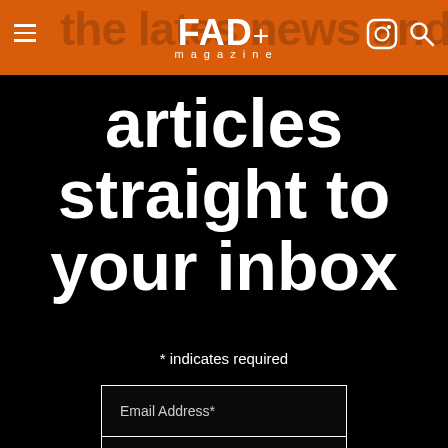[Figure (logo): FAD magazine logo with hamburger menu, Instagram icon, and search icon on orange header bar]
articles straight to your inbox
* indicates required
Email Address*
First Name
Last Name
Subscribe